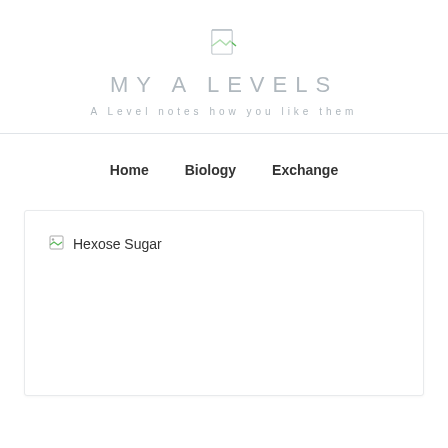[Figure (logo): Small broken image icon representing site logo]
MY A LEVELS
A Level notes how you like them
Home   Biology   Exchange
[Figure (photo): Broken image placeholder labeled Hexose Sugar]